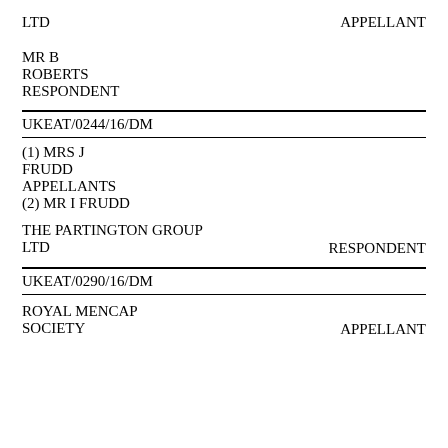LTD
APPELLANT
MR B
ROBERTS
RESPONDENT
UKEAT/0244/16/DM
(1) MRS J
FRUDD
APPELLANTS
(2) MR I FRUDD
THE PARTINGTON GROUP
LTD
RESPONDENT
UKEAT/0290/16/DM
ROYAL MENCAP
SOCIETY
APPELLANT